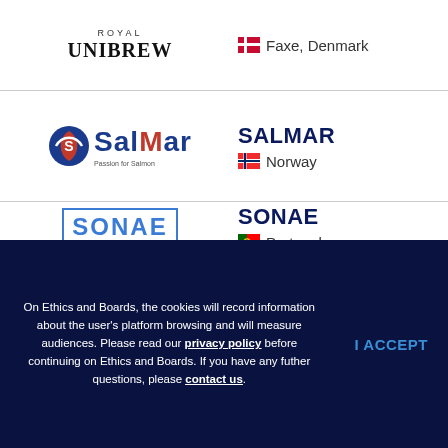[Figure (logo): Royal Unibrew logo with text 'ROYAL UNIBREW']
Faxe, Denmark
[Figure (logo): SalMar logo with circular S icon and text 'SalMar Passion for Salmon']
SALMAR
Norway
[Figure (logo): SONAE logo in blue outlined text]
SONAE
Portugal
On Ethics and Boards, the cookies will record information about the user's platform browsing and will measure audiences. Please read our privacy policy before continuing on Ethics and Boards. If you have any futher questions, please contact us.
I ACCEPT